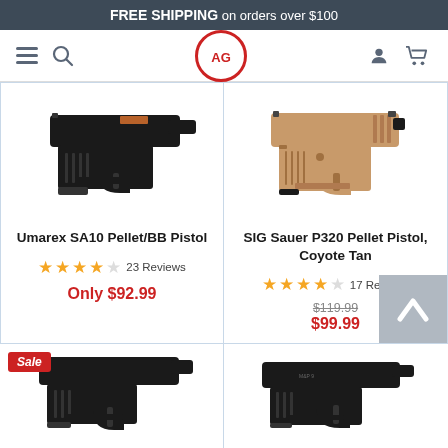FREE SHIPPING on orders over $100
[Figure (screenshot): E-commerce website navigation bar with hamburger menu, search icon, AG logo in red circle, user icon, and cart icon]
[Figure (photo): Umarex SA10 Pellet/BB Pistol - black semi-automatic air pistol]
Umarex SA10 Pellet/BB Pistol
3.5 stars, 23 Reviews
Only $92.99
[Figure (photo): SIG Sauer P320 Pellet Pistol in Coyote Tan color]
SIG Sauer P320 Pellet Pistol, Coyote Tan
3.5 stars, 17 Reviews
$119.99 sale price $99.99
[Figure (photo): Black air pistol product image with Sale badge, bottom-left card]
[Figure (photo): Black air pistol product image, bottom-right card]